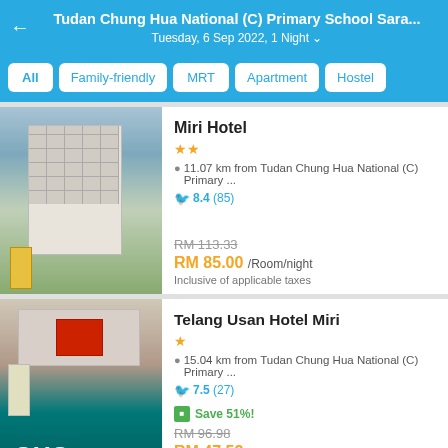Tudan Chung Hua National (C) Primary School Sara... Tuesday, 6 Sep 2022, 1 Night
All
Family-friendly
MRT
Apartment
Hostel
Miri Hotel
★★
11.07 km from Tudan Chung Hua National (C) Primary ...
8.4 (85)
RM 113.33
RM 85.00 /Room/night
Inclusive of applicable taxes
Telang Usan Hotel Miri
★
15.04 km from Tudan Chung Hua National (C) Primary ...
7.5 (27)
Save 51%!
RM 96.98
RM 47.52 /Room/night
Inclusive of applicable taxes